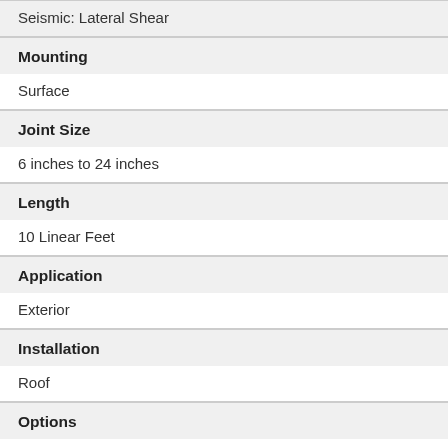Seismic: Lateral Shear
Mounting
Surface
Joint Size
6 inches to 24 inches
Length
10 Linear Feet
Application
Exterior
Installation
Roof
Options
Fire Barrier, Custom finishes and sizes available, call for more information
Warranty
1 year